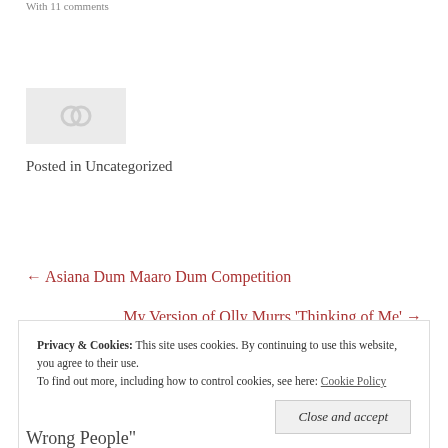With 11 comments
[Figure (photo): Placeholder image with chain-link icon on light grey background]
Posted in Uncategorized
← Asiana Dum Maaro Dum Competition
My Version of Olly Murrs 'Thinking of Me' →
Privacy & Cookies: This site uses cookies. By continuing to use this website, you agree to their use. To find out more, including how to control cookies, see here: Cookie Policy
Close and accept
Wrong People"